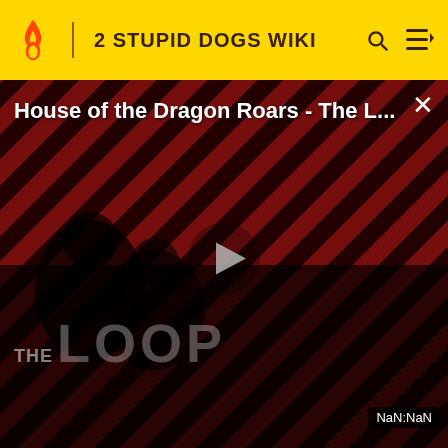2 STUPID DOGS WIKI
[Figure (screenshot): Video player overlay showing 'House of the Dragon Roars - The L...' with a play button, diagonal red/black striped background, 'THE LOOP' text watermark, and NaN:NaN timer badge in bottom right corner]
|  | 5:00PM | Making Fiends |